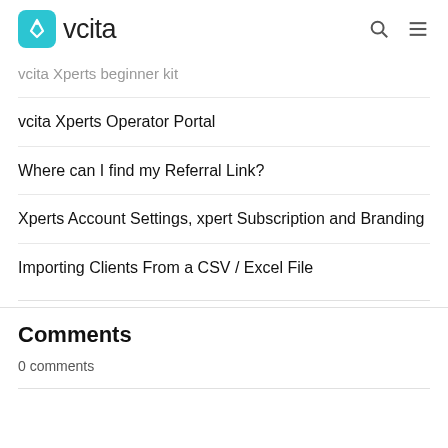vcita
vcita Xperts beginner kit
vcita Xperts Operator Portal
Where can I find my Referral Link?
Xperts Account Settings, xpert Subscription and Branding
Importing Clients From a CSV / Excel File
Comments
0 comments